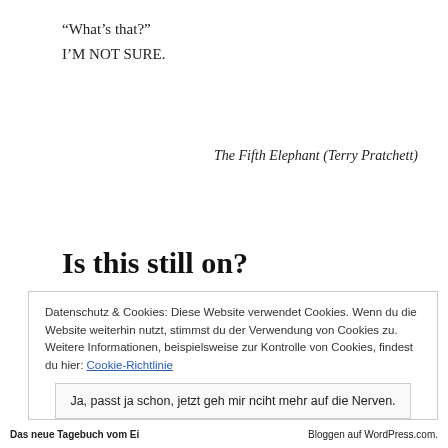“What’s that?”
I’M NOT SURE.
The Fifth Elephant (Terry Pratchett)
Is this still on?
[Figure (photo): Dark reddish-brown photo, appears to be a close-up of an elephant or animal skin in dramatic low lighting]
Datenschutz & Cookies: Diese Website verwendet Cookies. Wenn du die Website weiterhin nutzt, stimmst du der Verwendung von Cookies zu. Weitere Informationen, beispielsweise zur Kontrolle von Cookies, findest du hier: Cookie-Richtlinie
Ja, passt ja schon, jetzt geh mir nciht mehr auf die Nerven.
Das neue Tagebuch vom Ei | Bloggen auf WordPress.com.